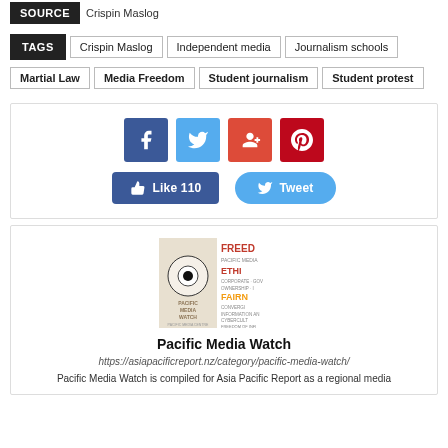SOURCE | Crispin Maslog
TAGS: Crispin Maslog | Independent media | Journalism schools
Martial Law | Media Freedom | Student journalism | Student protest
[Figure (infographic): Social sharing buttons: Facebook (f), Twitter (bird), Google+ (G+), Pinterest (P) icons. Below: Like 110 button and Tweet button.]
[Figure (photo): Pacific Media Watch logo/book cover image showing an eye graphic and text: MEDIA FREED, PACIFIC MEDIA, ETHIC, CONVERGENCE, INFORMATION AND CYBERCULT, FREEDOM OF INFI, PACIFIC MEDIA WATCH]
Pacific Media Watch
https://asiapacificreport.nz/category/pacific-media-watch/
Pacific Media Watch is compiled for Asia Pacific Report as a regional media